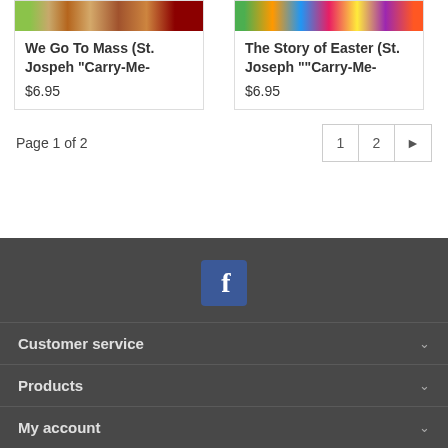We Go To Mass (St. Jospeh "Carry-Me-
$6.95
The Story of Easter (St. Joseph ""Carry-Me-
$6.95
Page 1 of 2
1  2  ▶
[Figure (logo): Facebook logo icon in blue square]
Customer service
Products
My account